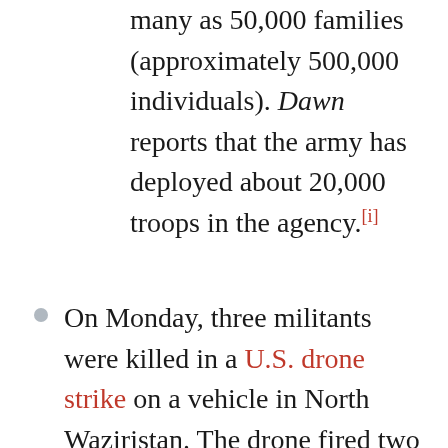many as 50,000 families (approximately 500,000 individuals). Dawn reports that the army has deployed about 20,000 troops in the agency.[i]
On Monday, three militants were killed in a U.S. drone strike on a vehicle in North Waziristan. The drone fired two missiles at the